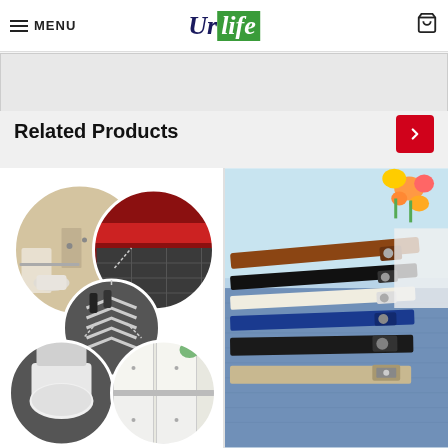MENU | UrLife [logo] | cart icon
[Figure (screenshot): Gray banner placeholder area below header]
Related Products
[Figure (photo): Collage of four circular images showing bathroom fixtures, restaurant interior, silicone strips/anchors, and kitchen cabinetry — product application photos]
[Figure (photo): Photo of multiple buckle-free elastic belts in various colors (brown, black, white, blue, black, beige) fanned out on denim jeans with flowers in background]